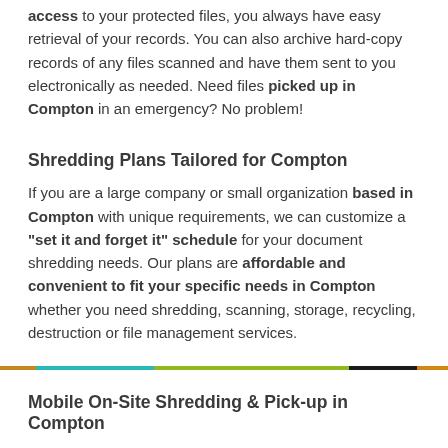access to your protected files, you always have easy retrieval of your records. You can also archive hard-copy records of any files scanned and have them sent to you electronically as needed. Need files picked up in Compton in an emergency? No problem!
Shredding Plans Tailored for Compton
If you are a large company or small organization based in Compton with unique requirements, we can customize a "set it and forget it" schedule for your document shredding needs. Our plans are affordable and convenient to fit your specific needs in Compton whether you need shredding, scanning, storage, recycling, destruction or file management services.
[Figure (other): Decorative horizontal divider bar with colored segments: orange, teal, green, light gray, dark, and amber.]
Mobile On-Site Shredding & Pick-up in Compton
We offer customized on-site mobile pick-up and drop-off for all types of shredding services in Compton with the highest level of security, convenience, efficiency, and affordability. Our professional drivers are prompt and courteous, specifically trained on how to handle sensitive materials with complete confidentiality remaining intact. They will travel to your office